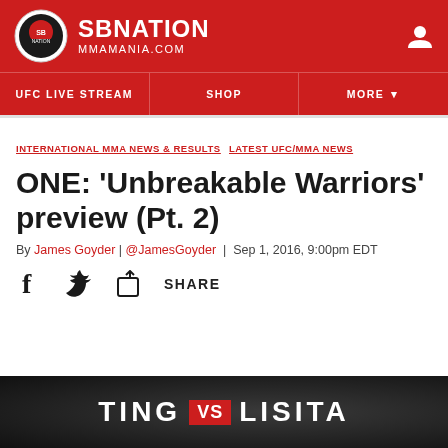SBNATION MMAMANIA.COM
UFC LIVE STREAM   SHOP   MORE
INTERNATIONAL MMA NEWS & RESULTS  LATEST UFC/MMA NEWS
ONE: 'Unbreakable Warriors' preview (Pt. 2)
By James Goyder | @JamesGoyder | Sep 1, 2016, 9:00pm EDT
SHARE
[Figure (photo): Event banner showing TING VS LISITA text over a dark background with fighters]